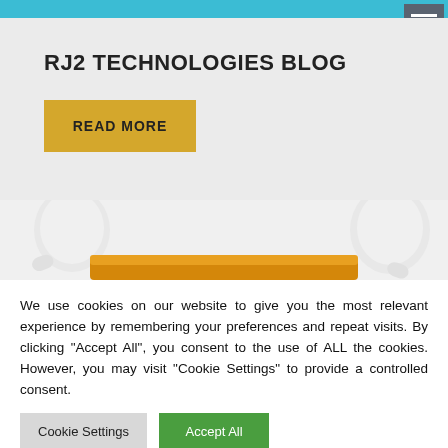RJ2 Technologies Blog - website header with navigation
RJ2 TECHNOLOGIES BLOG
READ MORE
[Figure (illustration): Partial view of 3D white cartoon figures holding a yellow/orange object, cropped at bottom]
We use cookies on our website to give you the most relevant experience by remembering your preferences and repeat visits. By clicking "Accept All", you consent to the use of ALL the cookies. However, you may visit "Cookie Settings" to provide a controlled consent.
Cookie Settings
Accept All